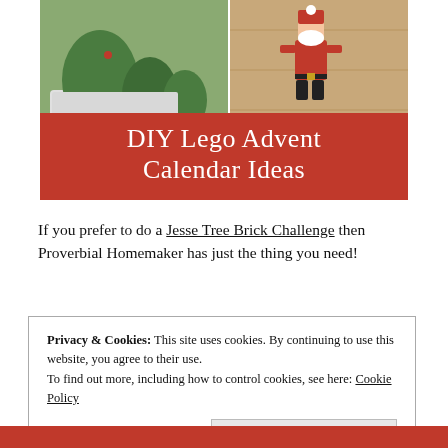[Figure (photo): Composite image with LEGO Christmas-themed builds (green trees, white baseplate on left) and a LEGO Santa minifigure on right. Red banner overlay reads 'DIY Lego Advent Calendar Ideas'. Watermark 'FrugalFun4Boys.com' visible.]
If you prefer to do a Jesse Tree Brick Challenge then Proverbial Homemaker has just the thing you need!
Privacy & Cookies: This site uses cookies. By continuing to use this website, you agree to their use.
To find out more, including how to control cookies, see here: Cookie Policy
[Close and accept]